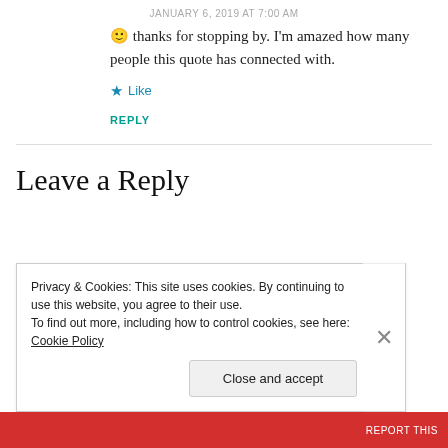JANUARY 6, 2019 AT 7:00 AM
🙂 thanks for stopping by. I'm amazed how many people this quote has connected with.
Like
REPLY
Leave a Reply
Privacy & Cookies: This site uses cookies. By continuing to use this website, you agree to their use.
To find out more, including how to control cookies, see here: Cookie Policy
Close and accept